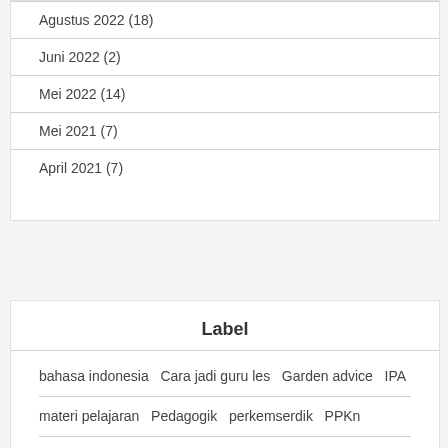Agustus 2022 (18)
Juni 2022 (2)
Mei 2022 (14)
Mei 2021 (7)
April 2021 (7)
Label
bahasa indonesia  Cara jadi guru les  Garden advice  IPA
materi pelajaran  Pedagogik  perkemserdik  PPKn